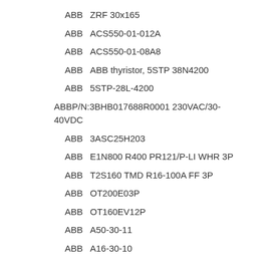ABB   ZRF 30x165
ABB   ACS550-01-012A
ABB   ACS550-01-08A8
ABB   ABB thyristor, 5STP 38N4200
ABB   5STP-28L-4200
ABB   P/N:3BHB017688R0001 230VAC/30-40VDC
ABB   3ASC25H203
ABB   E1N800 R400 PR121/P-LI WHR 3P
ABB   T2S160 TMD R16-100A FF 3P
ABB   OT200E03P
ABB   OT160EV12P
ABB   A50-30-11
ABB   A16-30-10